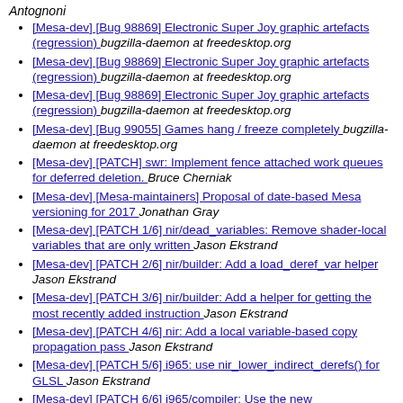Antognoni
[Mesa-dev] [Bug 98869] Electronic Super Joy graphic artefacts (regression)  bugzilla-daemon at freedesktop.org
[Mesa-dev] [Bug 98869] Electronic Super Joy graphic artefacts (regression)  bugzilla-daemon at freedesktop.org
[Mesa-dev] [Bug 98869] Electronic Super Joy graphic artefacts (regression)  bugzilla-daemon at freedesktop.org
[Mesa-dev] [Bug 99055] Games hang / freeze completely  bugzilla-daemon at freedesktop.org
[Mesa-dev] [PATCH] swr: Implement fence attached work queues for deferred deletion.  Bruce Cherniak
[Mesa-dev] [Mesa-maintainers] Proposal of date-based Mesa versioning for 2017  Jonathan Gray
[Mesa-dev] [PATCH 1/6] nir/dead_variables: Remove shader-local variables that are only written  Jason Ekstrand
[Mesa-dev] [PATCH 2/6] nir/builder: Add a load_deref_var helper  Jason Ekstrand
[Mesa-dev] [PATCH 3/6] nir/builder: Add a helper for getting the most recently added instruction  Jason Ekstrand
[Mesa-dev] [PATCH 4/6] nir: Add a local variable-based copy propagation pass  Jason Ekstrand
[Mesa-dev] [PATCH 5/6] i965: use nir_lower_indirect_derefs() for GLSL  Jason Ekstrand
[Mesa-dev] [PATCH 6/6] i965/compiler: Use the new nir_opt_copy_prop_vars pass  Jason Ekstrand